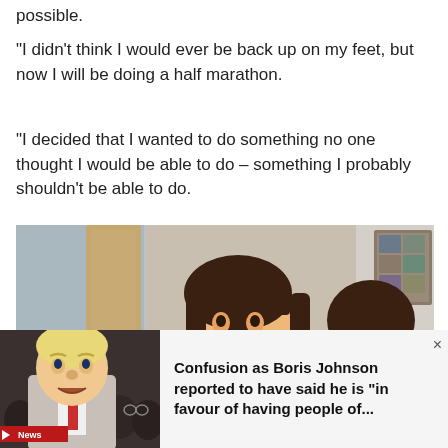possible.
“I didn’t think I would ever be back up on my feet, but now I will be doing a half marathon.
“I decided that I wanted to do something no one thought I would be able to do – something I probably shouldn’t be able to do.
[Figure (photo): A young girl with dark hair and bangs looking at the camera, with another child partially visible to the right. Indoor setting with framed photos on the wall in the upper right.]
[Figure (photo): Boris Johnson speaking at a public event, appearing animated, with crowd in background. News overlay advertisement.]
Confusion as Boris Johnson reported to have said he is "in favour of having people of...